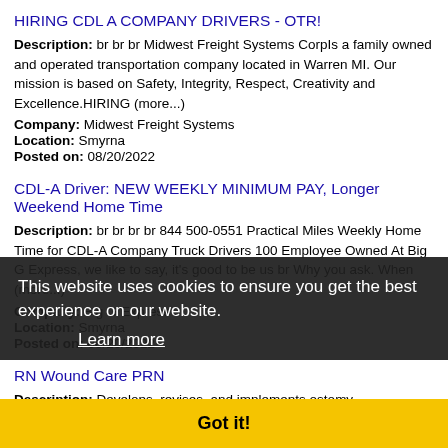HIRING CDL A COMPANY DRIVERS - OTR!
Description: br br br Midwest Freight Systems CorpIs a family owned and operated transportation company located in Warren MI. Our mission is based on Safety, Integrity, Respect, Creativity and Excellence.HIRING (more...)
Company: Midwest Freight Systems
Location: Smyrna
Posted on: 08/20/2022
CDL-A Driver: NEW WEEKLY MINIMUM PAY, Longer Weekend Home Time
Description: br br br br 844 500-0551 Practical Miles Weekly Home Time for CDL-A Company Truck Drivers 100 Employee Owned At Big G Express, we like to say, it's good to be us br Why you ask. When (more...)
Company: Big G Express
Location: Smyrna
Posted on: 08/20/2022
This website uses cookies to ensure you get the best experience on our website.
Learn more
Got it!
RN Wound Care PRN
Description: Develops, revises, and implements ostomy
Company: Hospital Corporation of America
Location: Smyrna